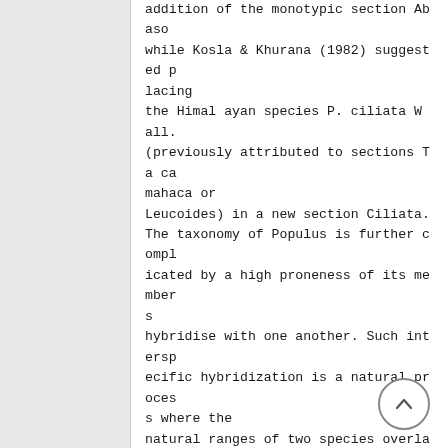addition of the monotypic section Abaso while Kosla & Khurana (1982) suggested p lacing
the Himal ayan species P. ciliata W all. (previously attributed to sections Ta ca mahaca or
Leucoides) in a new section Ciliata.
The taxonomy of Populus is further compl icated by a high proneness of its member s
hybridise with one another. Such intersp ecific hybridization is a natural proces s where the
natural ranges of two species overlap (B arnes & Pregitzer 1985, Dickmann & Stuar t 1983,
Ecke nwalder, 1984a, b, Ke im & al. 198 9, Muhle-Larsen 1970, Ronald & al. 1973 a, b,
Rood & al. 1986, Whith am & al. 1995). I t is also brought about through controll ed crosses
(Ronald 1982, Stettler & al. 1980, Willi ng & Pryor 1976) or both , when species